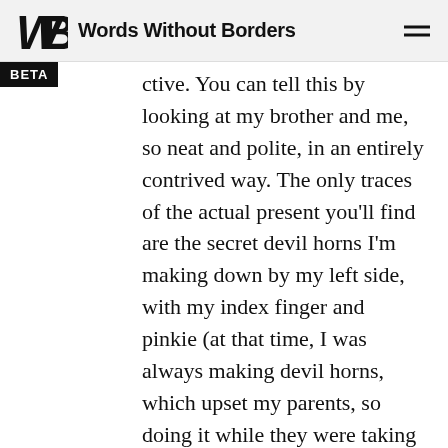Words Without Borders
ctive. You can tell this by looking at my brother and me, so neat and polite, in an entirely contrived way. The only traces of the actual present you'll find are the secret devil horns I'm making down by my left side, with my index finger and pinkie (at that time, I was always making devil horns, which upset my parents, so doing it while they were taking my picture probably seemed like a bit of silent spite), and then in my brother's restless face, because my brother was as slippery as an eel and trembling to hold still. Otherwise, we're a movie out on the street. We're pretending to be in a class other than our own, with different habits, beautiful and